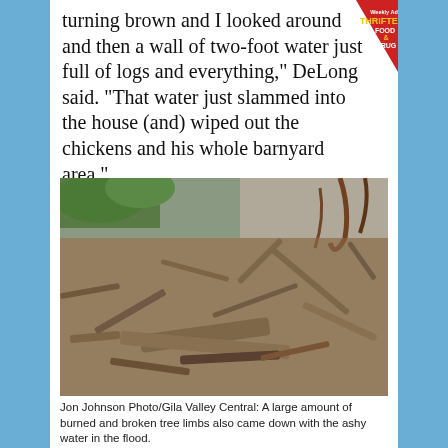turning brown and I looked around and there a wall of two-foot water just full of logs and everything," DeLong said. "That water just slammed into the house (and) wiped out the chickens and his whole barnyard area."
[Figure (photo): A large pile of burned and broken tree limbs and debris deposited against a rocky wall after a flood.]
Jon Johnson Photo/Gila Valley Central: A large amount of burned and broken tree limbs also came down with the ashy water in the flood.